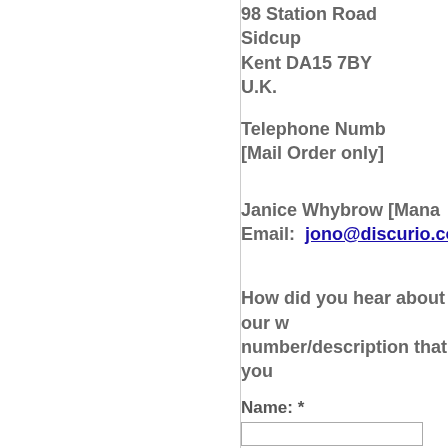98 Station Road
Sidcup
Kent DA15 7BY
U.K.
Telephone Number [Mail Order only]
Janice Whybrow [Mana
Email:  jono@discurio.co.u
How did you hear about our w number/description that you
Name: *